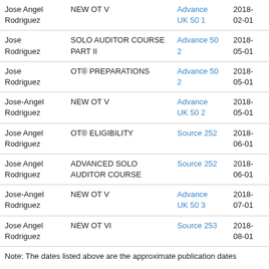| Name | Course | Source | Date |
| --- | --- | --- | --- |
| Jose Angel Rodriguez | NEW OT V | Advance UK 50 1 | 2018-02-01 |
| Jose Rodriguez | SOLO AUDITOR COURSE PART II | Advance 50 2 | 2018-05-01 |
| Jose Rodriguez | OT® PREPARATIONS | Advance 50 2 | 2018-05-01 |
| Jose-Angel Rodriguez | NEW OT V | Advance UK 50 2 | 2018-05-01 |
| Jose Angel Rodriguez | OT® ELIGIBILITY | Source 252 | 2018-06-01 |
| Jose Angel Rodriguez | ADVANCED SOLO AUDITOR COURSE | Source 252 | 2018-06-01 |
| Jose-Angel Rodriguez | NEW OT V | Advance UK 50 3 | 2018-07-01 |
| Jose Angel Rodriguez | NEW OT VI | Source 253 | 2018-08-01 |
Note: The dates listed above are the approximate publication dates